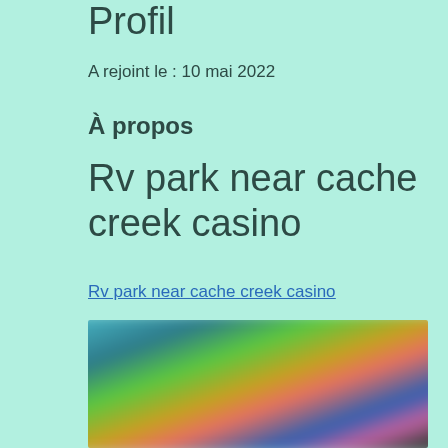Profil
A rejoint le : 10 mai 2022
À propos
Rv park near cache creek casino
Rv park near cache creek casino
[Figure (photo): Blurred screenshot of a gaming or entertainment website showing colorful game thumbnails]